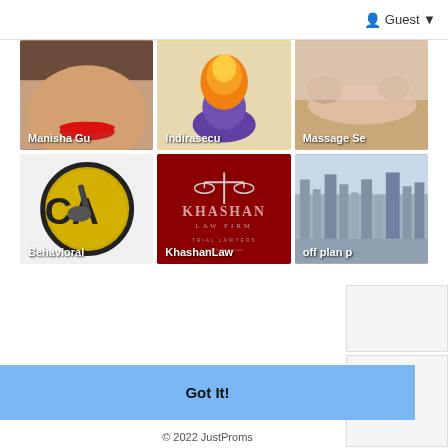Guest ▼
[Figure (photo): Grid of 6 thumbnail images: Manisha Gu (woman's face with red lips), Indirasecu (orange/purple trophy icon), Massage Se (person receiving massage), Behavioral (CA logo gold circle), KhashanLaw (Khashan Law Firm red background logo), off plan p (cityscape aerial view)]
Got It!
© 2022 JustProms